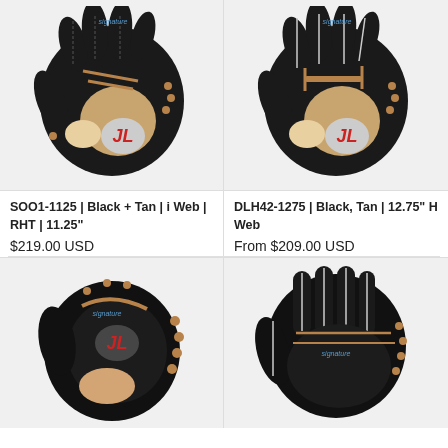[Figure (photo): Black and tan baseball glove with red JL logo, i-Web style, RHT]
[Figure (photo): Black and tan baseball glove with red JL logo, H-Web style, 12.75 inch]
SOO1-1125 | Black + Tan | i Web | RHT | 11.25"
$219.00 USD
DLH42-1275 | Black, Tan | 12.75" H Web
From $209.00 USD
[Figure (photo): Black and tan first base / catcher style baseball glove with red JL logo, brown lacing]
[Figure (photo): Black and tan outfield baseball glove with striped finger stalls and brown lacing]